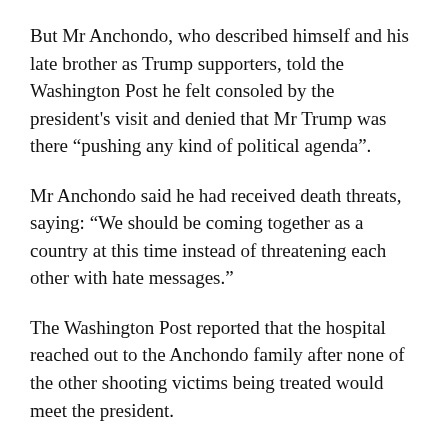But Mr Anchondo, who described himself and his late brother as Trump supporters, told the Washington Post he felt consoled by the president's visit and denied that Mr Trump was there “pushing any kind of political agenda”.
Mr Anchondo said he had received death threats, saying: “We should be coming together as a country at this time instead of threatening each other with hate messages.”
The Washington Post reported that the hospital reached out to the Anchondo family after none of the other shooting victims being treated would meet the president.
The row comes as the suspected El Paso gunman, 21-year-old Patrick Crusius, has confessed to deliberately